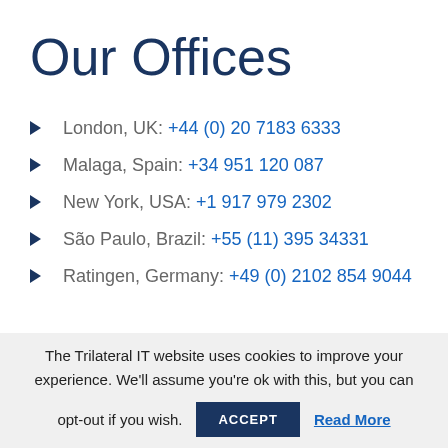Our Offices
London, UK: +44 (0) 20 7183 6333
Malaga, Spain: +34 951 120 087
New York, USA: +1 917 979 2302
São Paulo, Brazil: +55 (11) 395 34331
Ratingen, Germany: +49 (0) 2102 854 9044
The Trilateral IT website uses cookies to improve your experience. We'll assume you're ok with this, but you can opt-out if you wish.  ACCEPT  Read More